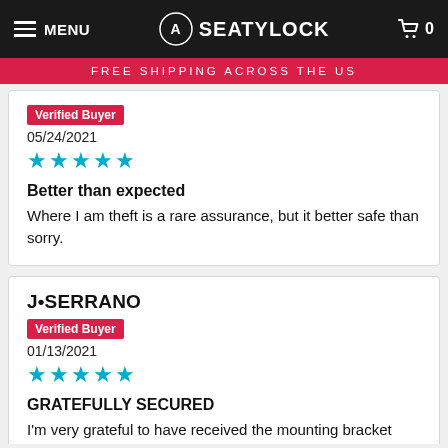MENU | SEATYLOCK | 0
FREE SHIPPING ACROSS THE US
Verified Buyer
05/24/2021
★★★★★
Better than expected
Where I am theft is a rare assurance, but it better safe than sorry.
J•SERRANO
Verified Buyer
01/13/2021
★★★★★
GRATEFULLY SECURED
I'm very grateful to have received the mounting bracket with the zip-ties. Delivery was quick. Although the bracket